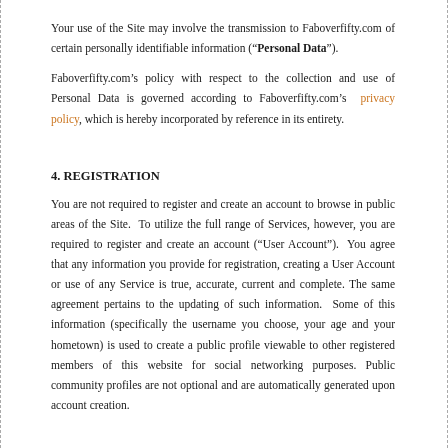Your use of the Site may involve the transmission to Faboverfifty.com of certain personally identifiable information (“Personal Data”).
Faboverfifty.com’s policy with respect to the collection and use of Personal Data is governed according to Faboverfifty.com’s privacy policy, which is hereby incorporated by reference in its entirety.
4. REGISTRATION
You are not required to register and create an account to browse in public areas of the Site.  To utilize the full range of Services, however, you are required to register and create an account (“User Account”).  You agree that any information you provide for registration, creating a User Account or use of any Service is true, accurate, current and complete. The same agreement pertains to the updating of such information.  Some of this information (specifically the username you choose, your age and your hometown) is used to create a public profile viewable to other registered members of this website for social networking purposes. Public community profiles are not optional and are automatically generated upon account creation.